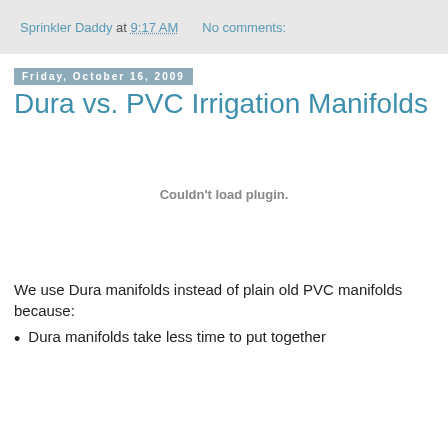Sprinkler Daddy at 9:17 AM   No comments:
Friday, October 16, 2009
Dura vs. PVC Irrigation Manifolds
[Figure (other): Embedded plugin area showing 'Couldn't load plugin.']
We use Dura manifolds instead of plain old PVC manifolds because:
Dura manifolds take less time to put together